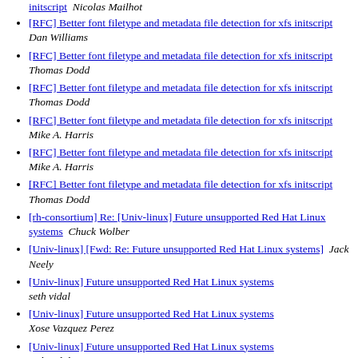initscript  Nicolas Mailhot
[RFC] Better font filetype and metadata file detection for xfs initscript  Dan Williams
[RFC] Better font filetype and metadata file detection for xfs initscript  Thomas Dodd
[RFC] Better font filetype and metadata file detection for xfs initscript  Thomas Dodd
[RFC] Better font filetype and metadata file detection for xfs initscript  Mike A. Harris
[RFC] Better font filetype and metadata file detection for xfs initscript  Mike A. Harris
[RFC] Better font filetype and metadata file detection for xfs initscript  Thomas Dodd
[rh-consortium] Re: [Univ-linux] Future unsupported Red Hat Linux systems  Chuck Wolber
[Univ-linux] [Fwd: Re: Future unsupported Red Hat Linux systems]  Jack Neely
[Univ-linux] Future unsupported Red Hat Linux systems  seth vidal
[Univ-linux] Future unsupported Red Hat Linux systems  Xose Vazquez Perez
[Univ-linux] Future unsupported Red Hat Linux systems  seth vidal
[Univ-linux] Future unsupported Red Hat Linux systems  Xose Vazquez Perez